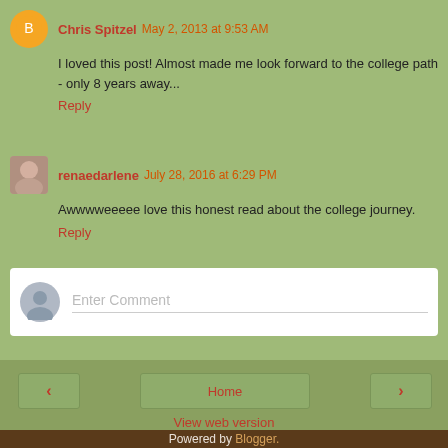Chris Spitzel May 2, 2013 at 9:53 AM
I loved this post! Almost made me look forward to the college path - only 8 years away...
Reply
renaedarlene July 28, 2016 at 6:29 PM
Awwwweeeee love this honest read about the college journey.
Reply
Enter Comment
Home
View web version
Powered by Blogger.